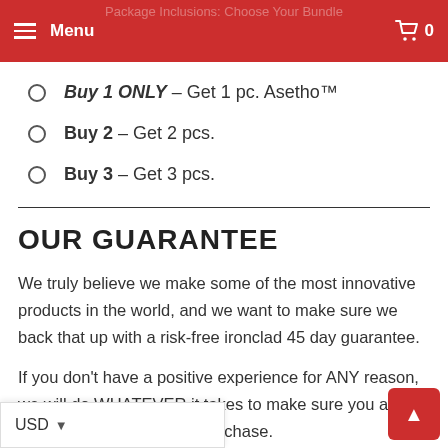Package Inclusions: Choose Your Bundle
Menu   🛒 0
Buy 1 ONLY — Get 1 pc. Asetho™
Buy 2 — Get 2 pcs.
Buy 3 — Get 3 pcs.
OUR GUARANTEE
We truly believe we make some of the most innovative products in the world, and we want to make sure we back that up with a risk-free ironclad 45 day guarantee.
If you don't have a positive experience for ANY reason, we will do WHATEVER it takes to make sure you are 100% satisfied with your purchase.